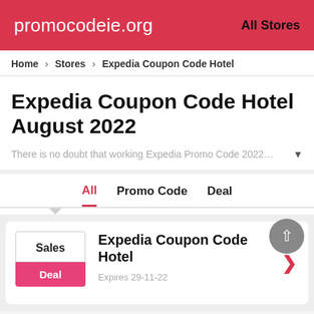promocodeie.org  All Stores
Home > Stores > Expedia Coupon Code Hotel
Expedia Coupon Code Hotel August 2022
There is no doubt that working Expedia Promo Code 2022…
All  Promo Code  Deal
Sales
Deal
Expedia Coupon Code Hotel
Expires 29-11-22